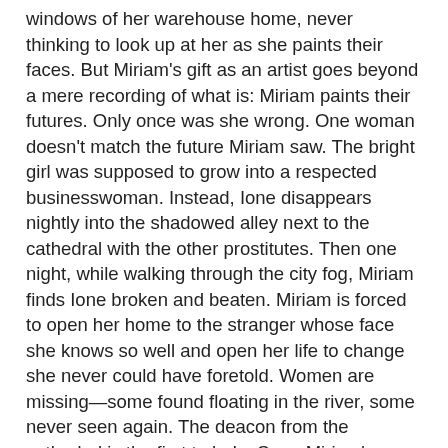windows of her warehouse home, never thinking to look up at her as she paints their faces. But Miriam's gift as an artist goes beyond a mere recording of what is: Miriam paints their futures. Only once was she wrong. One woman doesn't match the future Miriam saw. The bright girl was supposed to grow into a respected businesswoman. Instead, Ione disappears nightly into the shadowed alley next to the cathedral with the other prostitutes. Then one night, while walking through the city fog, Miriam finds Ione broken and beaten. Miriam is forced to open her home to the stranger whose face she knows so well and open her life to change she never could have foretold. Women are missing—some found floating in the river, some never seen again. The deacon from the cathedral is the first to help. Soon Miriam's solicitor, Michael, aids her in rejoining society so they might uncover the evil at work in the corrupt city...and awakens feelings she had never considered before. Finally engaged with the world she has so long observed, finally stirred by love and friendship, Miriam realizes the responsibility of her gifting. No longer can she just paint what will be. She must now help Ione find the future she is meant to have...and find her own along with it.